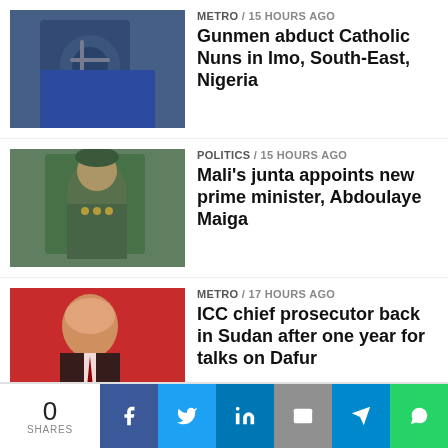[Figure (photo): Police officer holding rosary beads, blue uniform]
METRO / 15 hours ago
Gunmen abduct Catholic Nuns in Imo, South-East, Nigeria
[Figure (photo): Military officer in green uniform]
POLITICS / 15 hours ago
Mali's junta appoints new prime minister, Abdoulaye Maiga
[Figure (photo): Bald man in suit, red background]
METRO / 17 hours ago
ICC chief prosecutor back in Sudan after one year for talks on Dafur
[Figure (photo): Man in orange hat speaking at rally, blue crowd]
POLITICS / 17 hours ago
Raila Odinga heads to Kenyan Supreme Court to challenge presidential election loss
0 SHARES